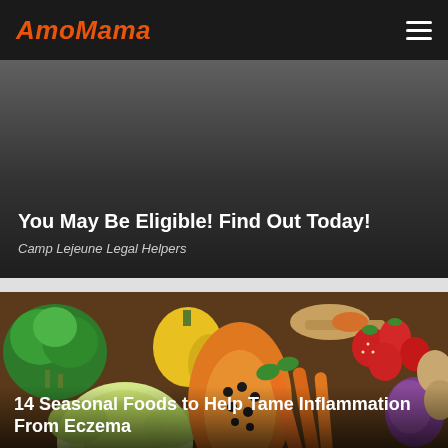AmoMama
[Figure (screenshot): Advertisement banner with dark gray gradient background showing text 'You May Be Eligible! Find Out Today!' and subtitle 'Camp Lejeune Legal Helpers']
You May Be Eligible! Find Out Today!
Camp Lejeune Legal Helpers
[Figure (photo): Colorful assortment of fresh fruits and vegetables including broccoli, cabbage, yellow peppers, papaya, carrots, strawberries, red peppers, tomatoes, lemons, and other produce arranged on a wooden surface]
14 Seasonal Foods to Help Tame Inflammation From Eczema